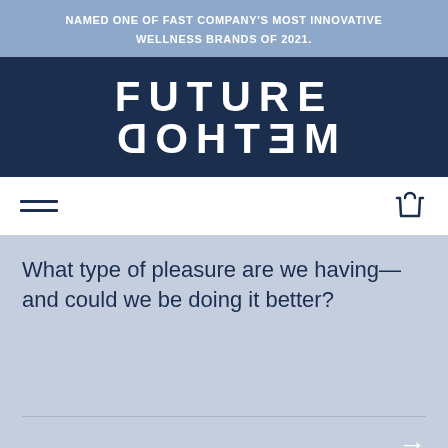NAMED ONE OF FAST COMPANY'S MOST INNOVATIVE WELLNESS BRANDS OF 2021.
[Figure (logo): Future Method logo with FUTURE text normal and METHOD text mirrored/flipped upside down, on dark navy background]
[Figure (other): Navigation bar with hamburger menu icon on left and shopping basket icon on right]
What type of pleasure are we having—and could we be doing it better?
THE FUN STUFF